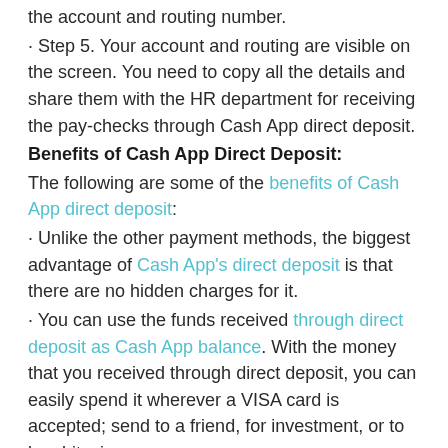the account and routing number.
· Step 5. Your account and routing are visible on the screen. You need to copy all the details and share them with the HR department for receiving the pay-checks through Cash App direct deposit.
Benefits of Cash App Direct Deposit:
The following are some of the benefits of Cash App direct deposit:
· Unlike the other payment methods, the biggest advantage of Cash App's direct deposit is that there are no hidden charges for it.
· You can use the funds received through direct deposit as Cash App balance. With the money that you received through direct deposit, you can easily spend it wherever a VISA card is accepted; send to a friend, for investment, or to buy bitcoins.
· Although the account or routing number is not associated with your bank account. But they are very beneficial for receiving direct deposit funds to your Cash App account. As